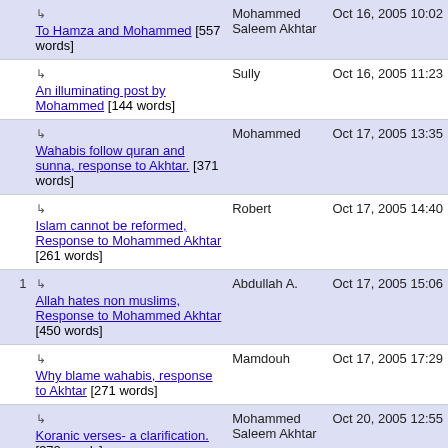|  |  | Author | Date |
| --- | --- | --- | --- |
|  | ↳ To Hamza and Mohammed [557 words] | Mohammed Saleem Akhtar | Oct 16, 2005 10:02 |
|  | ↳ An illuminating post by Mohammed [144 words] | Sully | Oct 16, 2005 11:23 |
|  | ↳ Wahabis follow quran and sunna, response to Akhtar. [371 words] | Mohammed | Oct 17, 2005 13:35 |
|  | ↳ Islam cannot be reformed, Response to Mohammed Akhtar [261 words] | Robert | Oct 17, 2005 14:40 |
| 1 | ↳ Allah hates non muslims, Response to Mohammed Akhtar [450 words] | Abdullah A. | Oct 17, 2005 15:06 |
|  | ↳ Why blame wahabis, response to Akhtar [271 words] | Mamdouh | Oct 17, 2005 17:29 |
|  | ↳ Koranic verses- a clarification. [372 words] | Mohammed Saleem Akhtar | Oct 20, 2005 12:55 |
|  | ↳ Islam is following quran and sunna, Response to Akhtar [244 words] | Mohammed | Oct 21, 2005 13:07 |
|  | ↳ ... | Mohammed Saleem... | Oct 22... |